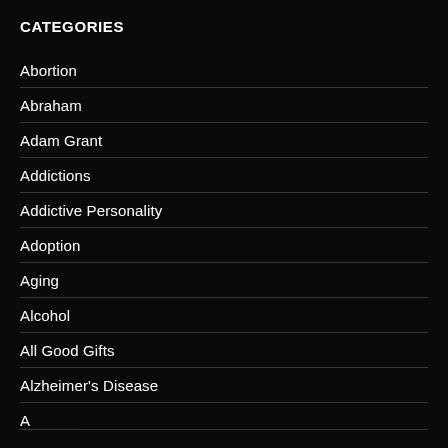CATEGORIES
Abortion
Abraham
Adam Grant
Addictions
Addictive Personality
Adoption
Aging
Alcohol
All Good Gifts
Alzheimer's Disease
Anxieties